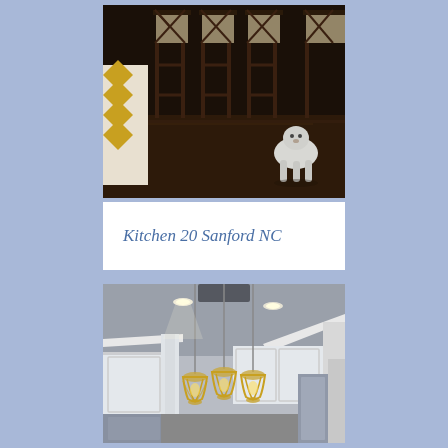[Figure (photo): Interior photo showing bar stools with X-back design on dark hardwood floors, with a white fluffy dog standing on the floor and a throw with yellow chevron pattern visible on the left]
Kitchen 20 Sanford NC
[Figure (photo): Kitchen interior with white cabinets, three pendant lights with cage/globe style shades hanging from the ceiling, recessed lighting, stainless steel appliances, and crown molding]